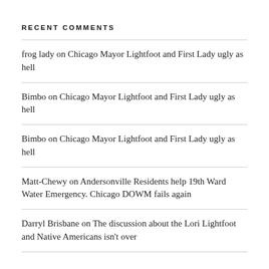RECENT COMMENTS
frog lady on Chicago Mayor Lightfoot and First Lady ugly as hell
Bimbo on Chicago Mayor Lightfoot and First Lady ugly as hell
Bimbo on Chicago Mayor Lightfoot and First Lady ugly as hell
Matt-Chewy on Andersonville Residents help 19th Ward Water Emergency. Chicago DOWM fails again
Darryl Brisbane on The discussion about the Lori Lightfoot and Native Americans isn't over